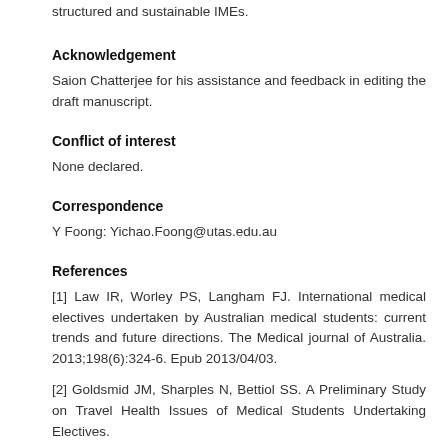structured and sustainable IMEs.
Acknowledgement
Saion Chatterjee for his assistance and feedback in editing the draft manuscript.
Conflict of interest
None declared.
Correspondence
Y Foong: Yichao.Foong@utas.edu.au
References
[1] Law IR, Worley PS, Langham FJ. International medical electives undertaken by Australian medical students: current trends and future directions. The Medical journal of Australia. 2013;198(6):324-6. Epub 2013/04/03.
[2] Goldsmid JM, Sharples N, Bettiol SS. A Preliminary Study on Travel Health Issues of Medical Students Undertaking Electives.